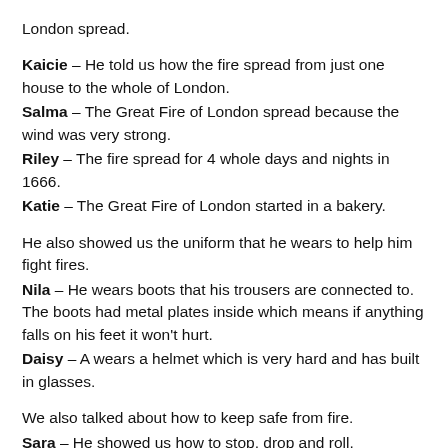London spread.
Kaicie – He told us how the fire spread from just one house to the whole of London.
Salma – The Great Fire of London spread because the wind was very strong.
Riley – The fire spread for 4 whole days and nights in 1666.
Katie – The Great Fire of London started in a bakery.
He also showed us the uniform that he wears to help him fight fires.
Nila – He wears boots that his trousers are connected to. The boots had metal plates inside which means if anything falls on his feet it won't hurt.
Daisy – A wears a helmet which is very hard and has built in glasses.
We also talked about how to keep safe from fire.
Sara – He showed us how to stop, drop and roll.